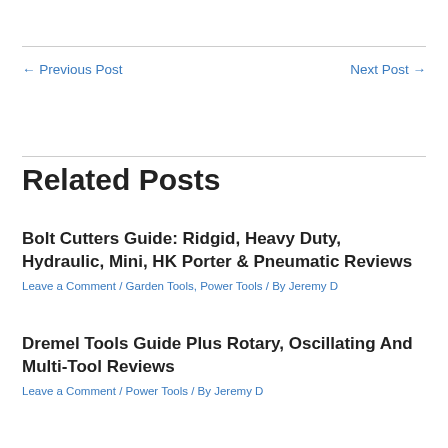← Previous Post
Next Post →
Related Posts
Bolt Cutters Guide: Ridgid, Heavy Duty, Hydraulic, Mini, HK Porter & Pneumatic Reviews
Leave a Comment / Garden Tools, Power Tools / By Jeremy D
Dremel Tools Guide Plus Rotary, Oscillating And Multi-Tool Reviews
Leave a Comment / Power Tools / By Jeremy D